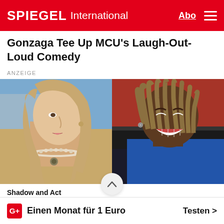SPIEGEL International
Gonzaga Tee Up MCU's Laugh-Out-Loud Comedy
ANZEIGE
[Figure (photo): Two film stills side by side: left panel shows a blonde woman in a beige coat with a pearl necklace looking to the side; right panel shows a Black man with dreadlocks in a blue jacket sitting in a car, laughing.]
Shadow and Act
G+ Einen Monat für 1 Euro   Testen >